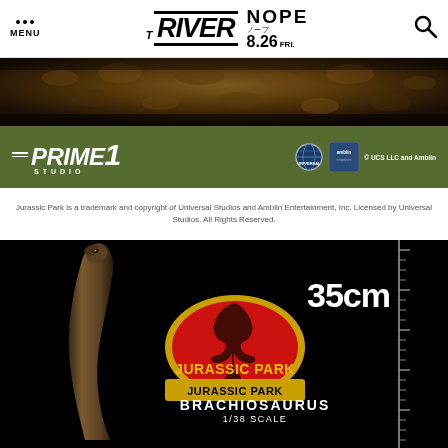MENU | THE RIVER | NOPE ノープ 8.26 FRI.
[Figure (photo): Close-up photo of dark brown/green textured surface resembling dinosaur hide or fur]
[Figure (logo): Prime 1 Studio logo on olive green background with Universal and Amblin Entertainment logos, text: © UCS LLC and Amblin]
Jurassic Park is a trademark and copyright of Universal Studios and Amblin Entertainment, Inc. Licensed by Universal Studios. All Rights Reserved.
[Figure (photo): Dark black background with Brachiosaurus dinosaur figure neck visible on left, Jurassic Park logo in center, 35cm scale indicator with ruler on right, product text: BRACHIOSAURUS 1/38 SCALE]